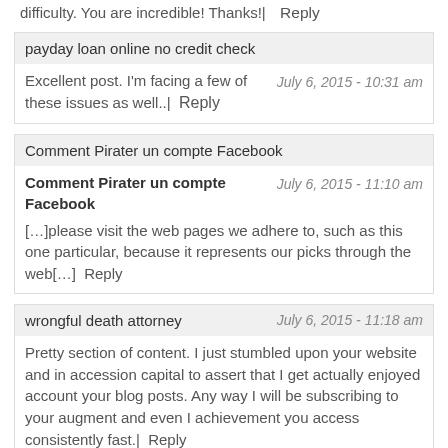difficulty. You are incredible! Thanks!|  Reply
payday loan online no credit check
July 6, 2015 - 10:31 am
Excellent post. I'm facing a few of these issues as well..|  Reply
Comment Pirater un compte Facebook
July 6, 2015 - 11:10 am
Comment Pirater un compte Facebook
[…]please visit the web pages we adhere to, such as this one particular, because it represents our picks through the web[…]  Reply
wrongful death attorney
July 6, 2015 - 11:18 am
Pretty section of content. I just stumbled upon your website and in accession capital to assert that I get actually enjoyed account your blog posts. Any way I will be subscribing to your augment and even I achievement you access consistently fast.|  Reply
handuk souvenir
July 6, 2015 - 11:22 am